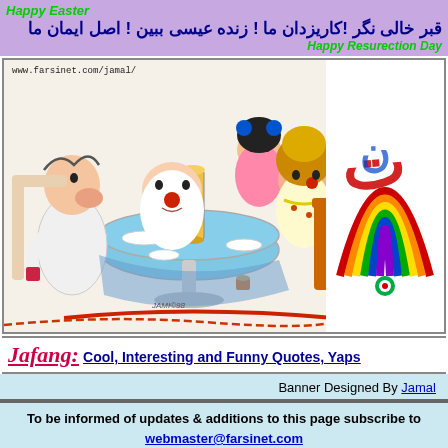Happy Easter | قبر خالی نگر ! کاربزدان ما ! زنده عیسی ببین ! اصل ایمان ما | Happy Resurection Day
[Figure (illustration): Cartoon illustration of a family sitting around a dinner table with food and drinks, URL www.farsinet.com/jamal/ shown top left, with colorful Farsi logo on right side]
Jafang: Cool, Interesting and Funny Quotes, Yaps...
Banner Designed By Jamal
To be informed of updates & additions to this page subscribe to webmaster@farsinet.com Send us your Opinion of Jafang and check other Visitors' Opinion